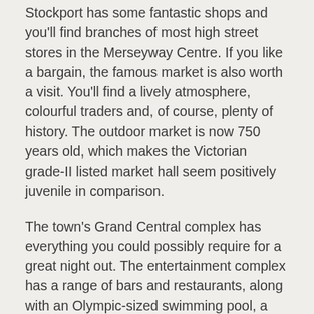Stockport has some fantastic shops and you'll find branches of most high street stores in the Merseyway Centre. If you like a bargain, the famous market is also worth a visit. You'll find a lively atmosphere, colourful traders and, of course, plenty of history. The outdoor market is now 750 years old, which makes the Victorian grade-II listed market hall seem positively juvenile in comparison.
The town's Grand Central complex has everything you could possibly require for a great night out. The entertainment complex has a range of bars and restaurants, along with an Olympic-sized swimming pool, a popular bowling alley and health club. However, if you prefer something a little less raucous, the town also boasts a number of theatres such as The Garrick and The Plaza. These theatres host a variety of events from local amateur dramatics productions to larger touring shows.
Whether you're staying for a day trip or a longer duration,